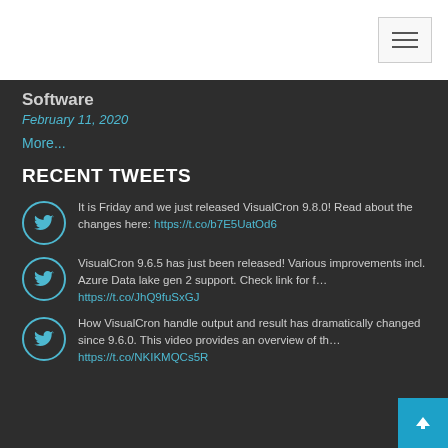Navigation bar with hamburger menu
Software
February 11, 2020
More...
RECENT TWEETS
It is Friday and we just released VisualCron 9.8.0! Read about the changes here: https://t.co/b7E5UatOd6
VisualCron 9.6.5 has just been released! Various improvements incl. Azure Data lake gen 2 support. Check link for f… https://t.co/JhQ9fuSxGJ
How VisualCron handle output and result has dramatically changed since 9.6.0. This video provides an overview of th… https://t.co/NKIKMQCs5R